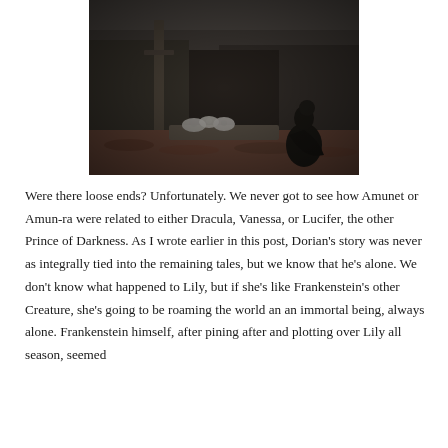[Figure (photo): Dark, moody black-and-white photo of a figure kneeling at a grave in a cemetery, surrounded by stone walls, fallen autumn leaves, and white flowers on the grave.]
Were there loose ends? Unfortunately. We never got to see how Amunet or Amun-ra were related to either Dracula, Vanessa, or Lucifer, the other Prince of Darkness. As I wrote earlier in this post, Dorian's story was never as integrally tied into the remaining tales, but we know that he's alone. We don't know what happened to Lily, but if she's like Frankenstein's other Creature, she's going to be roaming the world an an immortal being, always alone. Frankenstein himself, after pining after and plotting over Lily all season, seemed